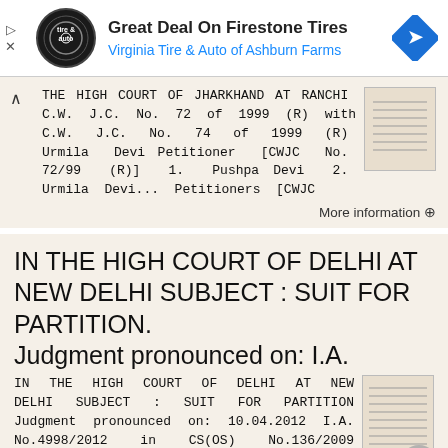[Figure (other): Advertisement banner: Great Deal On Firestone Tires - Virginia Tire & Auto of Ashburn Farms, with logo and navigation arrow icon]
THE HIGH COURT OF JHARKHAND AT RANCHI C.W. J.C. No. 72 of 1999 (R) with C.W. J.C. No. 74 of 1999 (R) Urmila Devi Petitioner [CWJC No. 72/99 (R)] 1. Pushpa Devi 2. Urmila Devi... Petitioners [CWJC
More information →
IN THE HIGH COURT OF DELHI AT NEW DELHI SUBJECT : SUIT FOR PARTITION. Judgment pronounced on: I.A.
IN THE HIGH COURT OF DELHI AT NEW DELHI SUBJECT : SUIT FOR PARTITION Judgment pronounced on: 10.04.2012 I.A. No.4998/2012 in CS(OS) No.136/2009 SUGANDHA SETHI Plaintiff Through: Ms. N.Shoba with